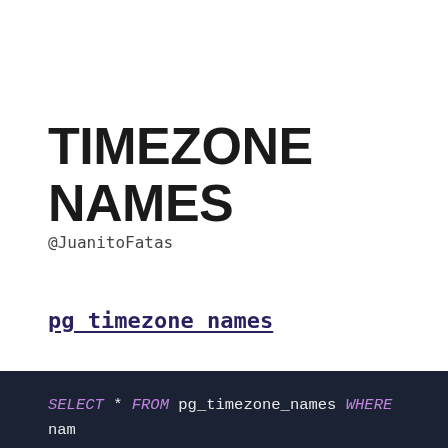TIMEZONE NAMES
@JuanitoFatas
pg_timezone_names
SELECT * FROM pg_timezone_names WHERE name LIKE 'Australia/%' ORDER BY utc_offset asc;